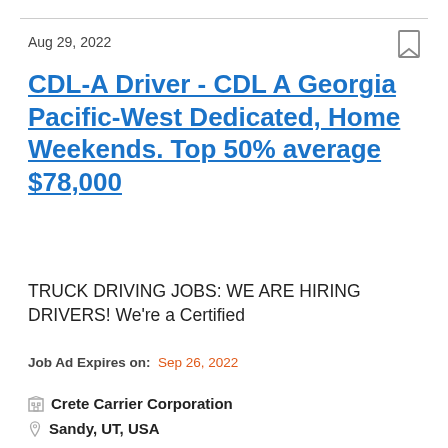Aug 29, 2022
CDL-A Driver - CDL A Georgia Pacific-West Dedicated, Home Weekends. Top 50% average $78,000
TRUCK DRIVING JOBS: WE ARE HIRING DRIVERS! We're a Certified
Job Ad Expires on: Sep 26, 2022
Crete Carrier Corporation
Sandy, UT, USA